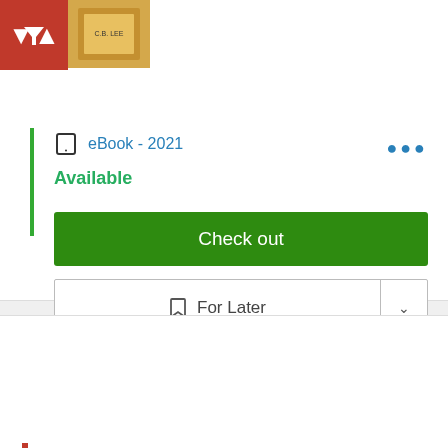[Figure (screenshot): Filter button (red background with white funnel icon) in top left corner, with partial book cover thumbnail beside it]
eBook - 2021
Available
Check out
For Later
[Figure (illustration): Book cover of The Shipwreck: An Official Minecraft Novel by C. B. Lee, showing dark blue cover with cyan chest/book graphic]
The Shipwreck: An Official Minecraft Novel
by Lee, C. B.